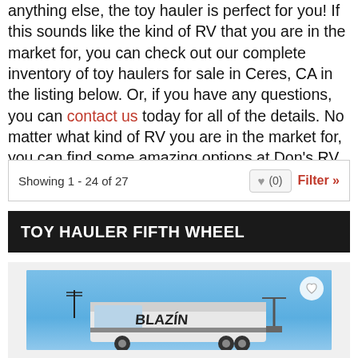anything else, the toy hauler is perfect for you! If this sounds like the kind of RV that you are in the market for, you can check out our complete inventory of toy haulers for sale in Ceres, CA in the listing below. Or, if you have any questions, you can contact us today for all of the details. No matter what kind of RV you are in the market for, you can find some amazing options at Don's RV, your top toy hauler dealer in Ceres, CA.
Showing 1 - 24 of 27
TOY HAULER FIFTH WHEEL
[Figure (photo): Photo of a fifth wheel RV (toy hauler) against a blue sky background, with a heart/favorite icon in the top right corner of the image.]